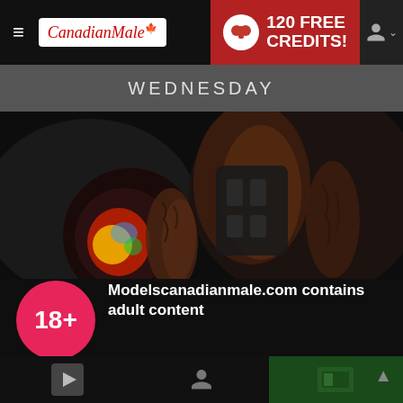CanadianMale — 120 FREE CREDITS!
WEDNESDAY
[Figure (photo): Muscular tattooed man wearing a tactical vest and holding a colorful helmet, shown from behind in a dark gym setting]
Modelscanadianmale.com contains adult content
By using the site, you acknowledge you have read our Privacy Policy, and agree to our Terms and Conditions.
We use cookies to optimize your experience, analyze traffic, and deliver more personalized service. To learn more, please see our Privacy Policy.
I AGREE